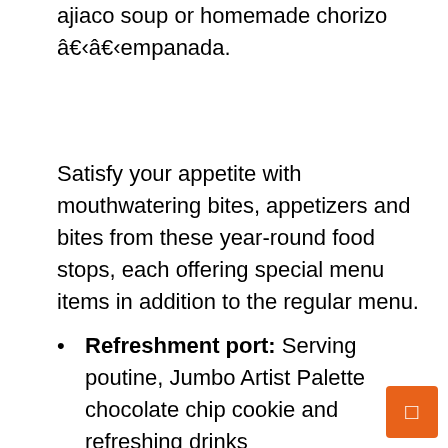ajiaco soup or homemade chorizo â€‹â€‹empanada.
Satisfy your appetite with mouthwatering bites, appetizers and bites from these year-round food stops, each offering special menu items in addition to the regular menu.
Refreshment port: Serving poutine, Jumbo Artist Palette chocolate chip cookie and refreshing drinks
Refueling station: Serving plant-based bratwurst, Artist Palette Jumbo Chocolate Chip Cookie and Playalinda Brewing Company Blue Raspberry Blonde
Funnel Cake: Serve a specialty funnel